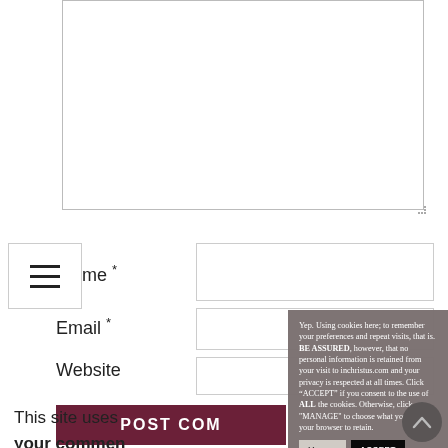[Figure (screenshot): Partial view of a web comment form with textarea, Name field, Email field, Website field, and POST COMMENT button. A cookie consent modal overlays the right portion. Hamburger menu icon visible top-left of form area.]
me *
Email *
Website
POST COM
This site uses
your commen
Yep. Using cookies here; to remember your preferences and repeat visits, that is. BE ASSURED, however, that no personal information is retained from your visit to inchristus.com and your privacy is respected at all times. Click “ACCEPT” if you consent to the use of ALL the cookies. Otherwise, click "MANAGE" to choose what you want your browser to retain.
Manage
ACCEPT